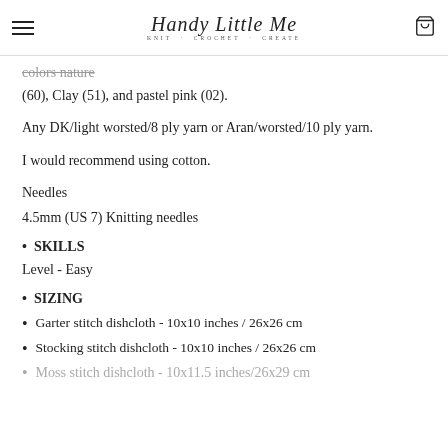Handy Little Me — KNIT · CROCHET · CREATE
colors nature (60), Clay (51), and pastel pink (02).
Any DK/light worsted/8 ply yarn or Aran/worsted/10 ply yarn.
I would recommend using cotton.
Needles
4.5mm (US 7) Knitting needles
• SKILLS
Level - Easy
• SIZING
Garter stitch dishcloth - 10x10 inches / 26x26 cm
Stocking stitch dishcloth - 10x10 inches / 26x26 cm
Moss stitch dishcloth - 10x11.5 inches/26x29 cm